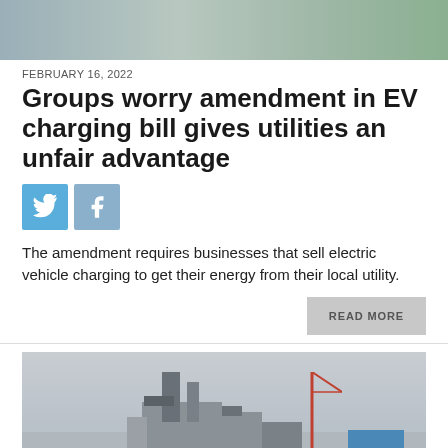[Figure (photo): Top portion of an outdoor scene, partially cropped, with grey/green background tones]
FEBRUARY 16, 2022
Groups worry amendment in EV charging bill gives utilities an unfair advantage
[Figure (other): Twitter and Facebook social sharing icon buttons]
The amendment requires businesses that sell electric vehicle charging to get their energy from their local utility.
READ MORE
[Figure (photo): Photo of an industrial facility, likely a power plant or gas facility, with a construction crane visible on the right, orange traffic cones along the bottom, surrounded by a fence, taken in overcast winter conditions]